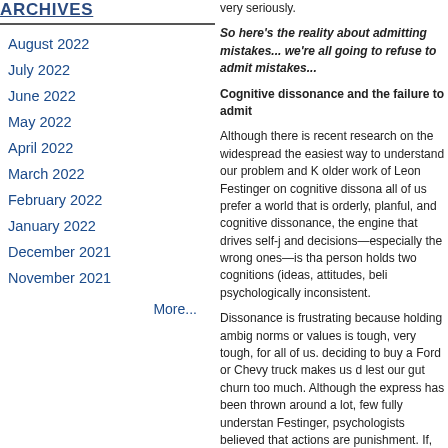ARCHIVES
August 2022
July 2022
June 2022
May 2022
April 2022
March 2022
February 2022
January 2022
December 2021
November 2021
More...
very seriously.
So here's the reality about admitting mistakes... we're all going to refuse to admit mistakes...
Cognitive dissonance and the failure to admit
Although there is recent research on the widespread the easiest way to understand our problem and K older work of Leon Festinger on cognitive dissona all of us prefer a world that is orderly, planful, and cognitive dissonance, the engine that drives self-j and decisions—especially the wrong ones—is tha person holds two cognitions (ideas, attitudes, beli psychologically inconsistent.
Dissonance is frustrating because holding ambig norms or values is tough, very tough, for all of us. deciding to buy a Ford or Chevy truck makes us d lest our gut churn too much. Although the express has been thrown around a lot, few fully understan Festinger, psychologists believed that actions are punishment. If, for example, you feed a rat at the the maze faster than if you don't feed him. Or, if y stop him from having a tantrum, he will have anot cookie. But humans think. And so dissonance th